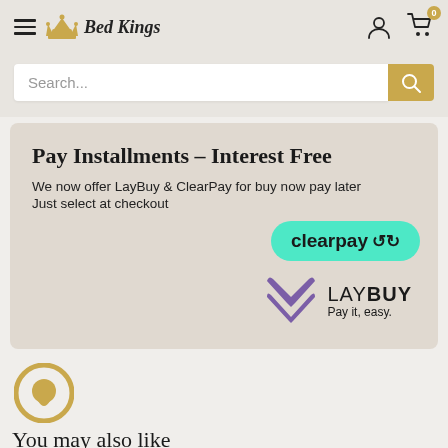Bed Kings
Search...
Pay Installments - Interest Free
We now offer LayBuy & ClearPay for buy now pay later
Just select at checkout
[Figure (logo): Clearpay logo badge - teal rounded rectangle with 'clearpay' text and recycling arrows icon]
[Figure (logo): Laybuy logo - purple chevron/heart icon with 'LAYBUY Pay it, easy.' text]
[Figure (illustration): Round gold chat bubble icon]
You may also like